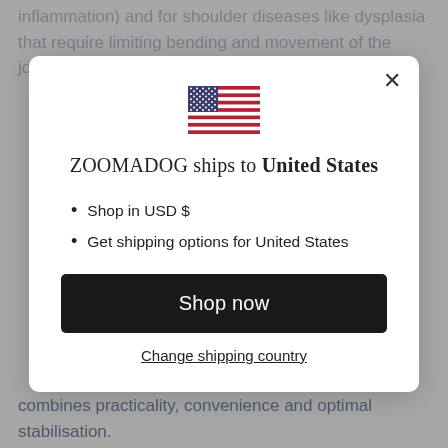inflammation) and for shoulder diseases like dysplasia that require limiting bending and movement of the joint. It can also be
[Figure (screenshot): Modal dialog popup showing a US flag, text 'ZOOMADOG ships to United States', bullet points 'Shop in USD $' and 'Get shipping options for United States', a black 'Shop now' button, and a 'Change shipping country' link. Has an X close button in top right.]
combines practicality, convenience and optimal stabilisation.